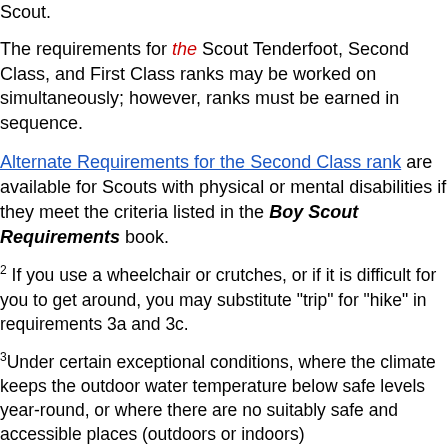Scout.
The requirements for the Scout Tenderfoot, Second Class, and First Class ranks may be worked on simultaneously; however, ranks must be earned in sequence.
Alternate Requirements for the Second Class rank are available for Scouts with physical or mental disabilities if they meet the criteria listed in the Boy Scout Requirements book.
2 If you use a wheelchair or crutches, or if it is difficult for you to get around, you may substitute "trip" for "hike" in requirements 3a and 3c.
3 Under certain exceptional conditions, where the climate keeps the outdoor water temperature below safe levels year-round, or where there are no suitably safe and accessible places (outdoors or indoors)